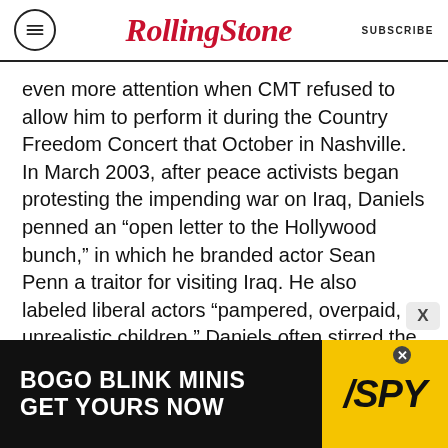Rolling Stone | SUBSCRIBE
even more attention when CMT refused to allow him to perform it during the Country Freedom Concert that October in Nashville. In March 2003, after peace activists began protesting the impending war on Iraq, Daniels penned an “open letter to the Hollywood bunch,” in which he branded actor Sean Penn a traitor for visiting Iraq. He also labeled liberal actors “pampered, overpaid, unrealistic children.” Daniels often stirred the pot with his “Soap Box” feature on his website, which chronicled his views on political, moral, and social issues, and he became an outspoken conservative voice on Twitter.
[Figure (other): BOGO BLINK MINIS advertisement banner with SPY logo on yellow background]